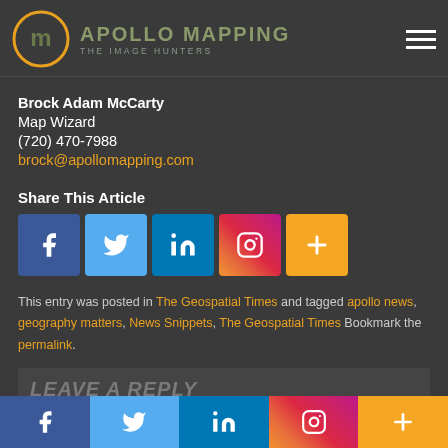[Figure (logo): Apollo Mapping logo with circular emblem and text 'APOLLO MAPPING - THE IMAGE HUNTERS']
Brock Adam McCarty
Map Wizard
(720) 470-7988
brock@apollomapping.com
Share This Article
[Figure (infographic): Social media share buttons: Facebook, Twitter, LinkedIn, Instagram, More]
This entry was posted in The Geospatial Times and tagged apollo news, geography matters, News Snippets, The Geospatial Times Bookmark the permalink.
LEAVE A REPLY
[Figure (infographic): Bottom social media bar with Facebook, Twitter, LinkedIn, Instagram, More buttons]